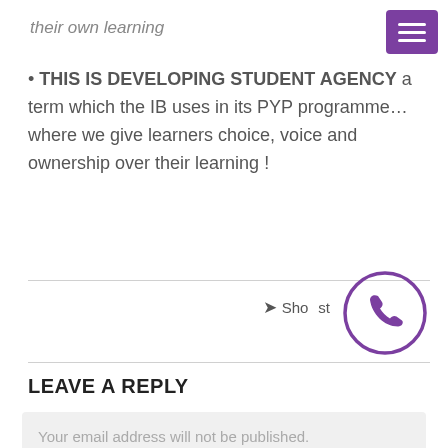their own learning
• THIS IS DEVELOPING STUDENT AGENCY a term which the IB uses in its PYP programme…where we give learners choice, voice and ownership over their learning !
[Figure (illustration): Purple circular phone/contact icon with a telephone handset symbol inside a circle outline, overlapping a share button row]
Share this post
LEAVE A REPLY
Your email address will not be published.